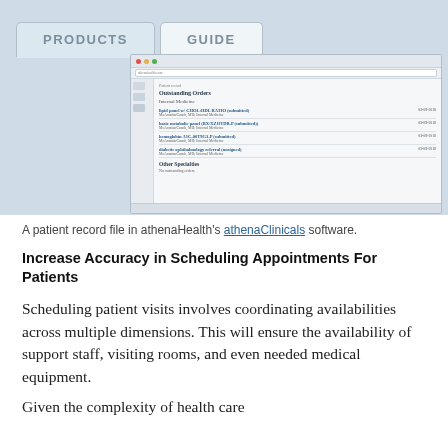[Figure (screenshot): Screenshot of athenaHealth's athenaClinicals software showing a patient record file with Outstanding Orders including Internal Medicine entries such as lipid panel, basic metabolic panel, hemoglobin, and diabetic ophthalmology referral, along with Other Specialties section.]
A patient record file in athenaHealth's athenaClinicals software.
Increase Accuracy in Scheduling Appointments For Patients
Scheduling patient visits involves coordinating availabilities across multiple dimensions. This will ensure the availability of support staff, visiting rooms, and even needed medical equipment.
Given the complexity of health care